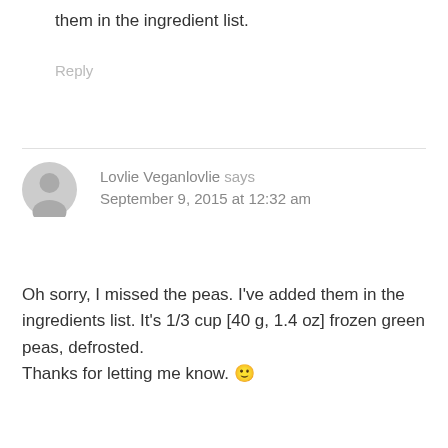them in the ingredient list.
Reply
Lovlie Veganlovlie says
September 9, 2015 at 12:32 am
Oh sorry, I missed the peas. I've added them in the ingredients list. It's 1/3 cup [40 g, 1.4 oz] frozen green peas, defrosted.
Thanks for letting me know. 🙂